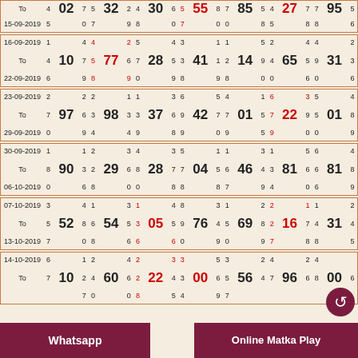| To | 4 | 02 | 7 | 5 | 32 | 2 | 4 | 30 | 6 | 5 | 55 | 8 | 7 | 85 | 5 | 4 | 27 | 7 | 7 | 95 | 5 |
| 15-09-2019 | 5 |  | 0 | 7 |  | 9 | 8 |  | 0 | 7 |  | 0 | 0 |  | 8 | 5 |  | 8 | 8 |  | 6 |
| 16-09-2019 | 1 |  | 4 | 4 |  | 2 | 5 |  | 4 | 3 |  | 1 | 1 |  | 5 | 2 |  | 4 | 4 |  | 2 |
| To | 4 | 10 | 7 | 5 | 77 | 6 | 7 | 28 | 5 | 3 | 41 | 1 | 2 | 14 | 9 | 4 | 65 | 5 | 9 | 31 | 3 |
| 22-09-2019 | 6 |  | 9 | 8 |  | 9 | 0 |  | 9 | 8 |  | 9 | 8 |  | 0 | 0 |  | 6 | 0 |  | 6 |
| 23-09-2019 | 2 |  | 2 | 2 |  | 1 | 1 |  | 3 | 6 |  | 5 | 4 |  | 1 | 6 |  | 3 | 5 |  | 4 |
| To | 7 | 97 | 6 | 3 | 98 | 3 | 3 | 37 | 6 | 9 | 42 | 7 | 7 | 01 | 5 | 7 | 22 | 9 | 5 | 01 | 8 |
| 29-09-2019 | 0 |  | 9 | 4 |  | 4 | 9 |  | 8 | 9 |  | 0 | 9 |  | 5 | 9 |  | 0 | 0 |  | 9 |
| 30-09-2019 | 1 |  | 1 | 2 |  | 3 | 4 |  | 3 | 5 |  | 1 | 1 |  | 3 | 1 |  | 5 | 6 |  | 4 |
| To | 8 | 90 | 3 | 2 | 29 | 6 | 8 | 28 | 7 | 7 | 04 | 5 | 6 | 46 | 4 | 3 | 81 | 6 | 6 | 81 | 8 |
| 06-10-2019 | 0 |  | 6 | 8 |  | 0 | 0 |  | 8 | 8 |  | 8 | 7 |  | 9 | 4 |  | 0 | 6 |  | 9 |
| 07-10-2019 | 3 |  | 4 | 1 |  | 3 | 1 |  | 4 | 8 |  | 3 | 1 |  | 2 | 2 |  | 1 | 1 |  | 2 |
| To | 5 | 52 | 8 | 6 | 54 | 5 | 3 | 05 | 5 | 9 | 76 | 4 | 5 | 69 | 8 | 2 | 16 | 7 | 4 | 31 | 4 |
| 13-10-2019 | 7 |  | 0 | 8 |  | 6 | 6 |  | 6 | 0 |  | 9 | 0 |  | 9 | 7 |  | 8 | 8 |  | 5 |
| 14-10-2019 | 6 |  | 1 | 2 |  | 4 | 2 |  | 3 | 3 |  | 5 | 3 |  | 2 | 4 |  | 2 | 4 |  |  |
| To | 7 | 10 | 2 | 4 | 60 | 6 | 2 | 22 | 4 | 3 | 00 | 6 | 5 | 56 | 4 | 7 | 96 | 6 | 8 | 00 | 6 |